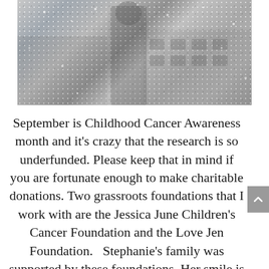[Figure (photo): Black and white photograph of a person standing outdoors near a building, partially cropped. Grainy/snowy texture overlay visible.]
September is Childhood Cancer Awareness month and it’s crazy that the research is so underfunded. Please keep that in mind if you are fortunate enough to make charitable donations. Two grassroots foundations that I work with are the Jessica June Children’s Cancer Foundation and the Love Jen Foundation.   Stephanie’s family was supported by these foundations. Her smile is amazing.  After graduating